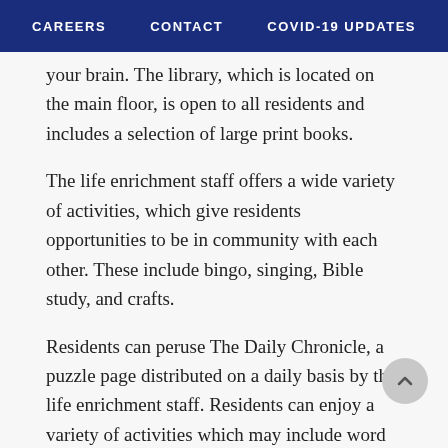CAREERS   CONTACT   COVID-19 UPDATES
your brain. The library, which is located on the main floor, is open to all residents and includes a selection of large print books.
The life enrichment staff offers a wide variety of activities, which give residents opportunities to be in community with each other. These include bingo, singing, Bible study, and crafts.
Residents can peruse The Daily Chronicle, a puzzle page distributed on a daily basis by the life enrichment staff. Residents can enjoy a variety of activities which may include word search, interesting facts and “on this day” historical tidbits. The regular activity schedule provides a routine that gives residents plenty of choices.